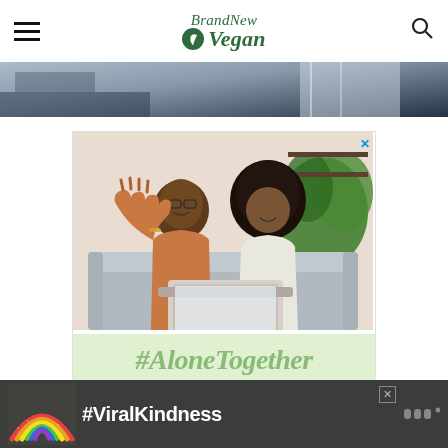BrandNew Vegan
[Figure (photo): Partial image of a room interior visible at top of page, showing furniture and window]
[Figure (photo): Advertisement showing a man and young girl sitting on a couch waving at a laptop screen with text '#AloneTogether' on a light green banner below]
[Figure (photo): Advertisement showing a chalk rainbow on dark pavement with text '#ViralKindness' in white on dark background]